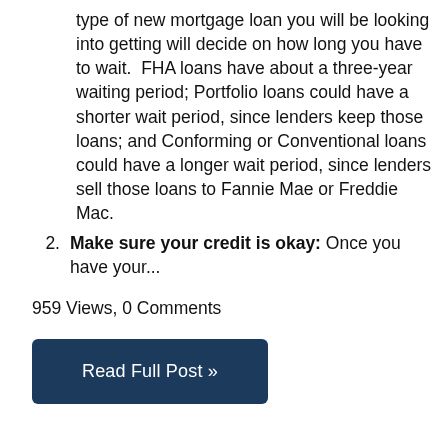type of new mortgage loan you will be looking into getting will decide on how long you have to wait.  FHA loans have about a three-year waiting period; Portfolio loans could have a shorter wait period, since lenders keep those loans; and Conforming or Conventional loans could have a longer wait period, since lenders sell those loans to Fannie Mae or Freddie Mac.
Make sure your credit is okay: Once you have your...
959 Views, 0 Comments
Read Full Post »